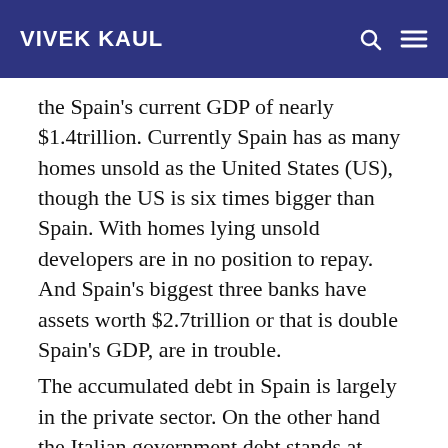VIVEK KAUL
the Spain's current GDP of nearly $1.4trillion. Currently Spain has as many homes unsold as the United States (US), though the US is six times bigger than Spain. With homes lying unsold developers are in no position to repay. And Spain's biggest three banks have assets worth $2.7trillion or that is double Spain's GDP, are in trouble.
The accumulated debt in Spain is largely in the private sector. On the other hand the Italian government debt stands at $2.6trillion, the fourth largest in the world. The debt works out to around 125% of the Italian gross domestic